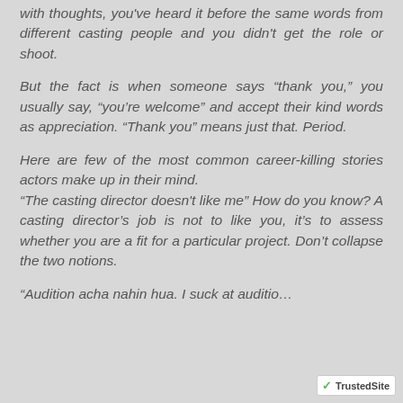with thoughts, you've heard it before the same words from different casting people and you didn't get the role or shoot.
But the fact is when someone says “thank you,” you usually say, “you’re welcome” and accept their kind words as appreciation. “Thank you” means just that. Period.
Here are few of the most common career-killing stories actors make up in their mind. "The casting director doesn't like me" How do you know? A casting director’s job is not to like you, it’s to assess whether you are a fit for a particular project. Don’t collapse the two notions.
“Audition acha nahin hua. I suck at auditio…